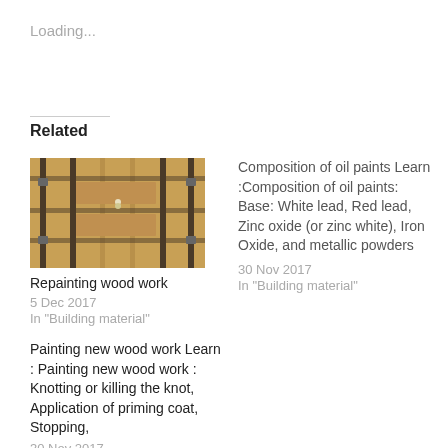Loading...
Related
[Figure (photo): Wooden door with metal hardware and decorative hinges]
Repainting wood work
5 Dec 2017
In "Building material"
Composition of oil paints Learn :Composition of oil paints: Base: White lead, Red lead, Zinc oxide (or zinc white), Iron Oxide, and metallic powders
30 Nov 2017
In "Building material"
Painting new wood work Learn : Painting new wood work : Knotting or killing the knot, Application of priming coat, Stopping,
30 Nov 2017